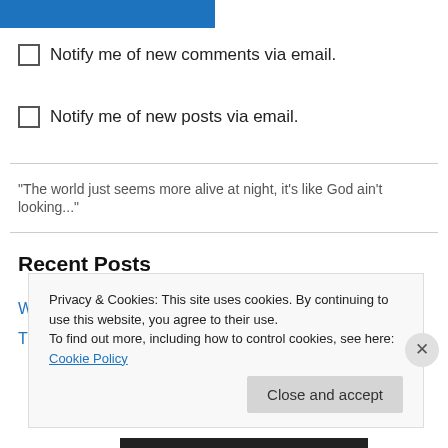[Figure (other): Blue bar button at top left]
Notify me of new comments via email.
Notify me of new posts via email.
"The world just seems more alive at night, it's like God ain't looking..."
Recent Posts
We've Moved!
Trailer Thursday: “Cloud Atlas”
Privacy & Cookies: This site uses cookies. By continuing to use this website, you agree to their use.
To find out more, including how to control cookies, see here: Cookie Policy